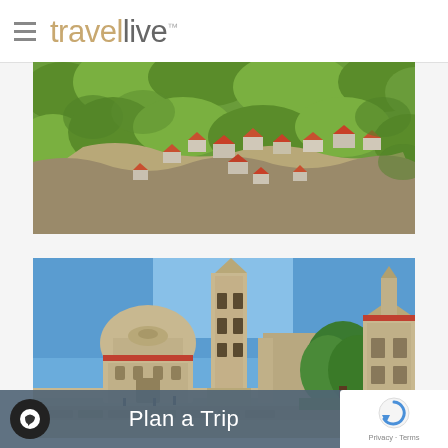travelive™
[Figure (photo): Aerial view of a Mediterranean village with orange-roofed stone houses nestled among dense green trees on a hillside]
[Figure (photo): Historic church square in a Croatian coastal city (Zadar) showing a round domed church, a tall bell tower, green trees, and stone ruins under a blue sky]
Plan a Trip